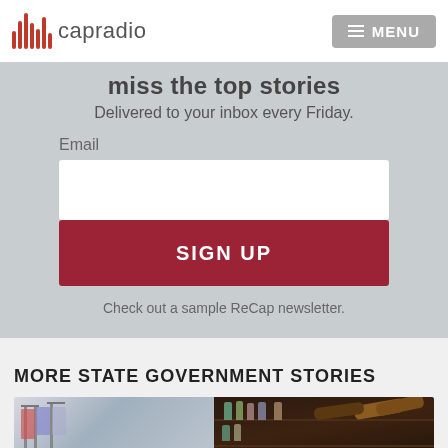capradio   MENU
miss the top stories
Delivered to your inbox every Friday.
Email
SIGN UP
Check out a sample ReCap newsletter.
MORE STATE GOVERNMENT STORIES
[Figure (photo): Interior photo of a retail store showing clothing racks on the left and shelving with products on a dark wood wall on the right]